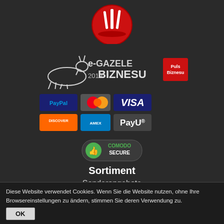[Figure (logo): Red circular logo with white cutlery/knife icon on dark background at top center]
[Figure (logo): e-Gazele Biznesu 2019 award logo with Puls Biznesu red square badge and running gazelle illustration]
[Figure (logo): Payment method icons: PayPal, MasterCard, VISA, Discover, Amex, PayU]
[Figure (logo): Comodo Secure green badge with thumbs up icon]
Sortiment
Sonderangebote
Ankündigung
Neuheiten
Diese Website verwendet Cookies. Wenn Sie die Website nutzen, ohne Ihre Browsereinstellungen zu ändern, stimmen Sie deren Verwendung zu.
OK